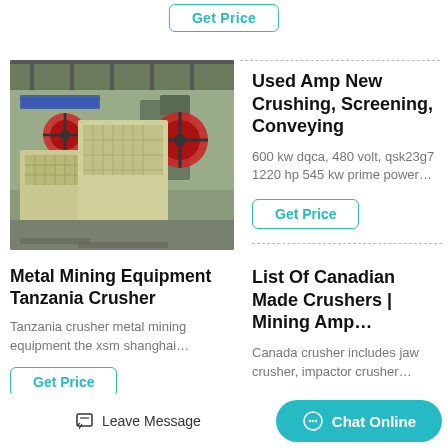Get Price
[Figure (photo): Industrial jaw crushers in a factory setting, three large beige/tan colored crushing machines with red flywheels visible in the background.]
Metal Mining Equipment Tanzania Crusher
Tanzania crusher metal mining equipment the xsm shanghai…
Get Price
Used Amp New Crushing, Screening, Conveying
600 kw dqca, 480 volt, qsk23g7 1220 hp 545 kw prime power…
Get Price
List Of Canadian Made Crushers | Mining Amp…
Canada crusher includes jaw crusher, impactor crusher…
Leave Message
Chat Online